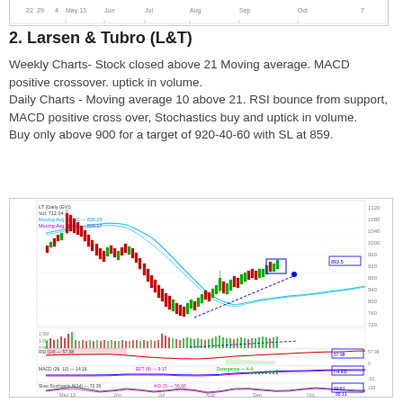[Figure (continuous-plot): Top strip showing partial stock chart x-axis with date labels (May 13 through Oct area)]
2. Larsen & Tubro (L&T)
Weekly Charts- Stock closed above 21 Moving average. MACD positive crossover. uptick in volume.
Daily Charts - Moving average 10 above 21. RSI bounce from support, MACD positive cross over, Stochastics buy and uptick in volume.
Buy only above 900 for a target of 920-40-60 with SL at 859.
[Figure (continuous-plot): Daily stock chart for Larsen & Tubro (L&T) showing candlestick price chart with moving averages (10 and 21), volume bars, RSI panel, MACD panel, and Stochastics panel. X-axis shows dates from May 13 through October. Price peaked around 1100-1120, declined to around 700-750 range, then recovered toward 900. Blue dashed trendline showing support. Multiple technical indicator panels below main chart.]